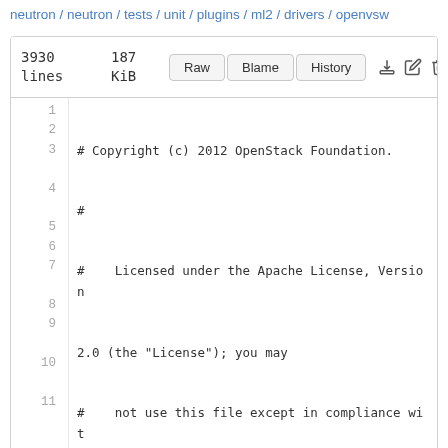neutron / neutron / tests / unit / plugins / ml2 / drivers / openvsw
3930 lines | 187 KiB | Raw | Blame | History
1  # Copyright (c) 2012 OpenStack Foundation.
2  #
3  #    Licensed under the Apache License, Version 2.0 (the "License"); you may
4  #    not use this file except in compliance with the License. You may obtain
5  #    a copy of the License at
6  #
7  #         http://www.apache.org/licenses/LICENSE-2.0
8  #
9  #    Unless required by applicable law or agreed to in writing, software
10 #    distributed under the License is distributed on an "AS IS" BASIS, WITHOUT
11 #    WARRANTIES OR CONDITIONS OF ANY KIND, either express or implied. See the